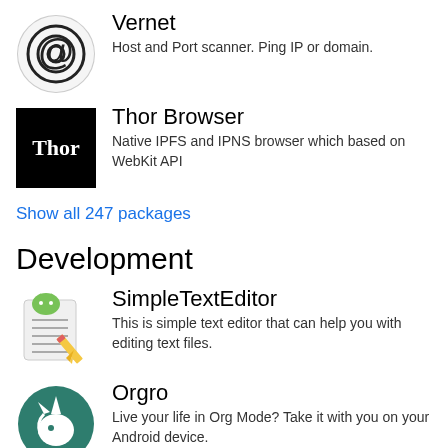Vernet — Host and Port scanner. Ping IP or domain.
Thor Browser — Native IPFS and IPNS browser which based on WebKit API
Show all 247 packages
Development
SimpleTextEditor — This is simple text editor that can help you with editing text files.
Orgro — Live your life in Org Mode? Take it with you on your Android device.
Intent Intercept